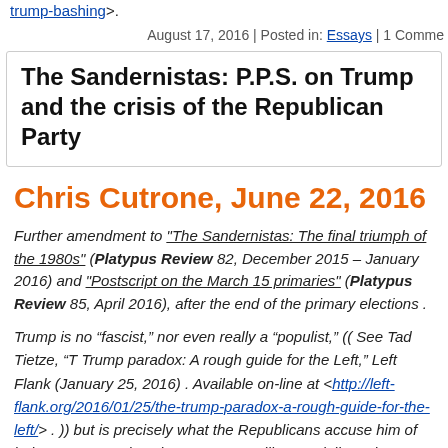trump-bashing>.
August 17, 2016 | Posted in: Essays | 1 Comme...
The Sandernistas: P.P.S. on Trump and the crisis of the Republican Party
Chris Cutrone, June 22, 2016
Further amendment to "The Sandernistas: The final triumph of the 1980s" (Platypus Review 82, December 2015 – January 2016) and "Postscript on the March 15 primaries" (Platypus Review 85, April 2016), after the end of the primary elections .
Trump is no “fascist,” nor even really a “populist,” (( See Tad Tietze, “T Trump paradox: A rough guide for the Left,” Left Flank (January 25, 2016) . Available on-line at <http://left-flank.org/2016/01/25/the-trump-paradox-a-rough-guide-for-the-left/> . )) but is precisely what the Republicans accuse him of being: a New York-style Democrat — like t socially and economically liberal but blowhard “law-and-order” conservative former 1980s New York City Mayor Ed Koch . Trump